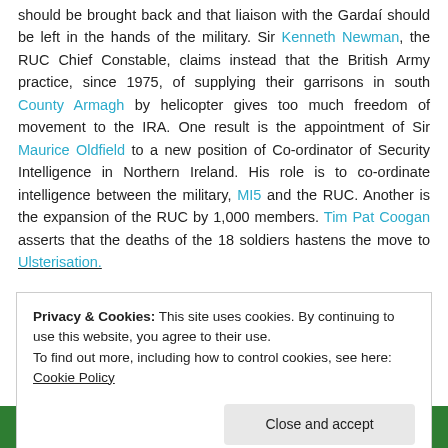should be brought back and that liaison with the Gardaí should be left in the hands of the military. Sir Kenneth Newman, the RUC Chief Constable, claims instead that the British Army practice, since 1975, of supplying their garrisons in south County Armagh by helicopter gives too much freedom of movement to the IRA. One result is the appointment of Sir Maurice Oldfield to a new position of Co-ordinator of Security Intelligence in Northern Ireland. His role is to co-ordinate intelligence between the military, MI5 and the RUC. Another is the expansion of the RUC by 1,000 members. Tim Pat Coogan asserts that the deaths of the 18 soldiers hastens the move to Ulsterisation.
Privacy & Cookies: This site uses cookies. By continuing to use this website, you agree to their use. To find out more, including how to control cookies, see here: Cookie Policy